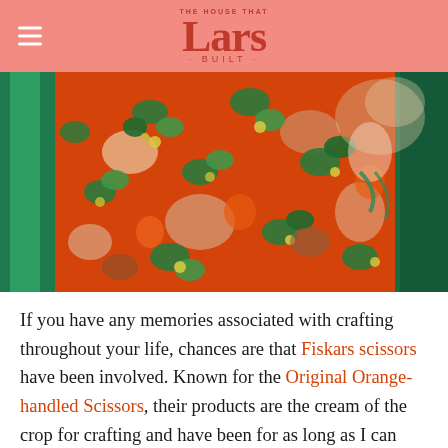THE HOUSE THAT Lars BUILT
[Figure (photo): Close-up photo of a person wearing an orange floral printed dress with green and white flower motifs, alongside a green satin fabric. The person's wrist is visible with a ruffled cuff.]
If you have any memories associated with crafting throughout your life, chances are that Fiskars scissors have been involved. Known for the Original Orange-handled Scissors, their products are the cream of the crop for crafting and have been for as long as I can remember. This month, we've partnered with Fiskars to celebrate the 50th Birthday of their iconic orange-